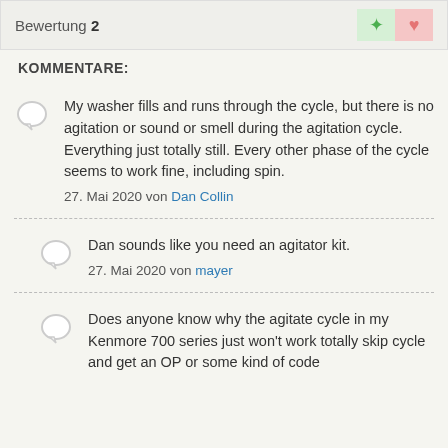Bewertung 2
KOMMENTARE:
My washer fills and runs through the cycle, but there is no agitation or sound or smell during the agitation cycle. Everything just totally still. Every other phase of the cycle seems to work fine, including spin.
27. Mai 2020 von Dan Collin
Dan sounds like you need an agitator kit.
27. Mai 2020 von mayer
Does anyone know why the agitate cycle in my Kenmore 700 series just won't work totally skip cycle and get an OP or some kind of code